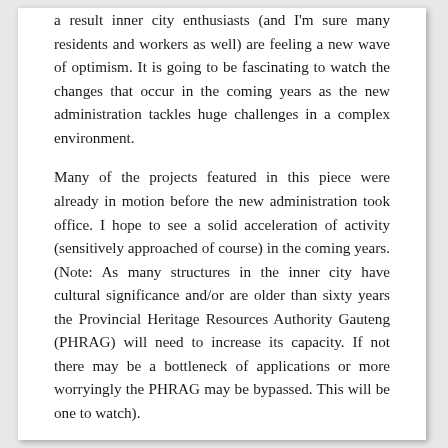a result inner city enthusiasts (and I'm sure many residents and workers as well) are feeling a new wave of optimism. It is going to be fascinating to watch the changes that occur in the coming years as the new administration tackles huge challenges in a complex environment.
Many of the projects featured in this piece were already in motion before the new administration took office. I hope to see a solid acceleration of activity (sensitively approached of course) in the coming years. (Note: As many structures in the inner city have cultural significance and/or are older than sixty years the Provincial Heritage Resources Authority Gauteng (PHRAG) will need to increase its capacity. If not there may be a bottleneck of applications or more worryingly the PHRAG may be bypassed. This will be one to watch).
Below are a number of projects I have